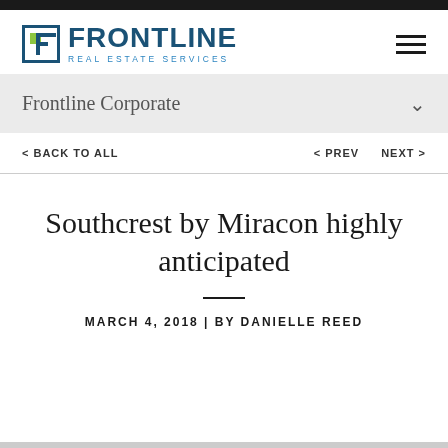Frontline Real Estate Services
Frontline Corporate
< BACK TO ALL   < PREV   NEXT >
Southcrest by Miracon highly anticipated
MARCH 4, 2018 | BY DANIELLE REED